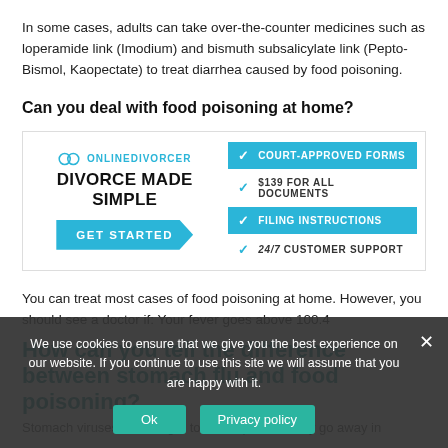In some cases, adults can take over-the-counter medicines such as loperamide link (Imodium) and bismuth subsalicylate link (Pepto-Bismol, Kaopectate) to treat diarrhea caused by food poisoning.
Can you deal with food poisoning at home?
[Figure (infographic): OnlineDivorcer advertisement banner: logo, 'DIVORCE MADE SIMPLE', 'GET STARTED' button, and feature list: Court-Approved Forms, $139 For All Documents, Filing Instructions, 24/7 Customer Support]
You can treat most cases of food poisoning at home. However, you should see a doctor if: Your fever goes above 100.4
How can you tell the difference between stomach flu and food poisoning?
Stomach viruses take longer to develop but usually go away in
We use cookies to ensure that we give you the best experience on our website. If you continue to use this site we will assume that you are happy with it.